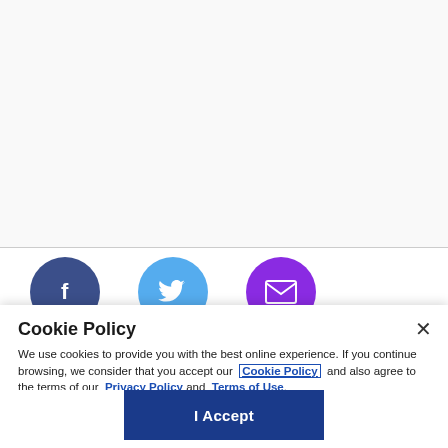[Figure (illustration): Top blank/white section of a webpage above a horizontal divider line]
[Figure (illustration): Three social media circular icon buttons: Facebook (dark blue), Twitter (light blue), Email/envelope (purple)]
Cookie Policy
We use cookies to provide you with the best online experience. If you continue browsing, we consider that you accept our Cookie Policy and also agree to the terms of our Privacy Policy and Terms of Use.
I Accept